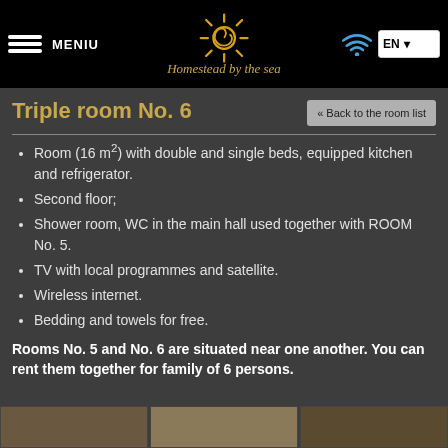MENIU | Homestead by the sea | EN
Triple room No. 6
« Back to the room list
Room (16 m²) with double and single beds, equipped kitchen and refrigerator.
Second floor;
Shower room, WC in the main hall used together with ROOM No. 5.
TV with local programmes and satellite.
Wireless internet.
Bedding and towels for free.
Rooms No. 5 and No. 6 are situated near one another. You can rent them together for family of 6 persons.
[Figure (photo): Three thumbnail photos of the room at the bottom of the page]